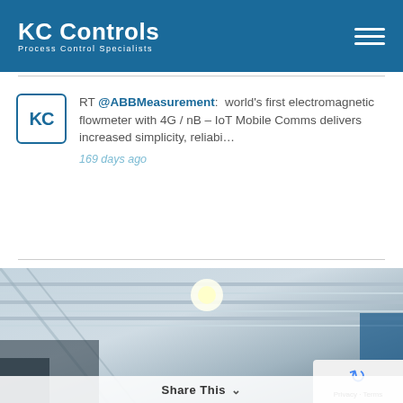KC Controls — Process Control Specialists
RT @ABBMeasurement: world's first electromagnetic flowmeter with 4G / nB – IoT Mobile Comms delivers increased simplicity, reliabi…
169 days ago
[Figure (photo): Industrial ceiling/warehouse interior photograph used as background, with green overlay box containing the text 'Talk To Us Today' and 'Speak to an expert']
Talk To Us Today
Speak to an expert
Share This